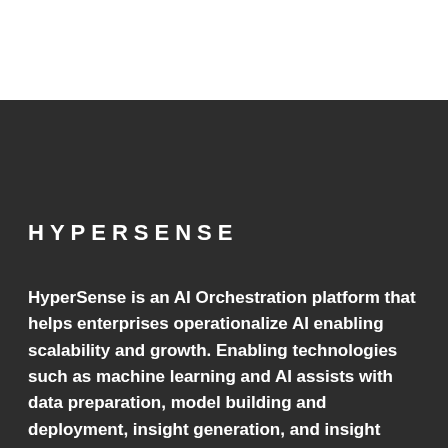HYPERSENSE
HyperSense is an AI Orchestration platform that helps enterprises operationalize AI enabling scalability and growth. Enabling technologies such as machine learning and AI assists with data preparation, model building and deployment, insight generation, and insight explanation to augment how enterprises explore and analyze the data.